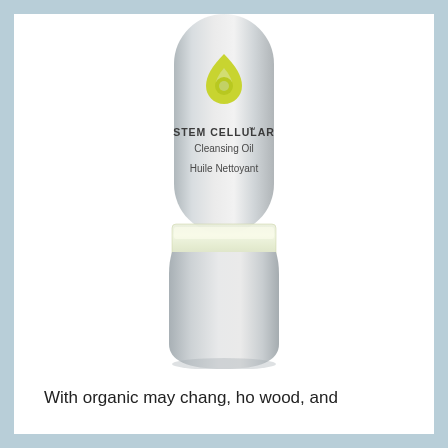[Figure (photo): A cylindrical metallic silver bottle of STEM CELLULAR Cleansing Oil (Huile Nettoyant). The bottle has a brushed silver finish, a yellow-green teardrop/droplet logo at the top, and a transparent band in the middle. The label reads: STEM CELLULAR™ Cleansing Oil / Huile Nettoyant.]
With organic may chang, ho wood, and